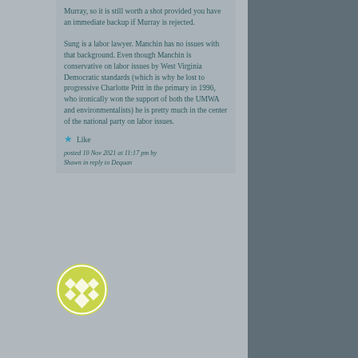Murray, so it is still worth a shot provided you have an immediate backup if Murray is rejected.

Sung is a labor lawyer. Manchin has no issues with that background. Even though Manchin is conservative on labor issues by West Virginia Democratic standards (which is why he lost to progressive Charlotte Pritt in the primary in 1996, who ironically won the support of both the UMWA and environmentalists) he is pretty much in the center of the national party on labor issues.
Like
posted 10 Nov 2021 at 11:17 pm by Shawn in reply to Dequan
[Figure (illustration): Round avatar icon with a yellow-green background featuring a decorative diamond/lattice pattern in white.]